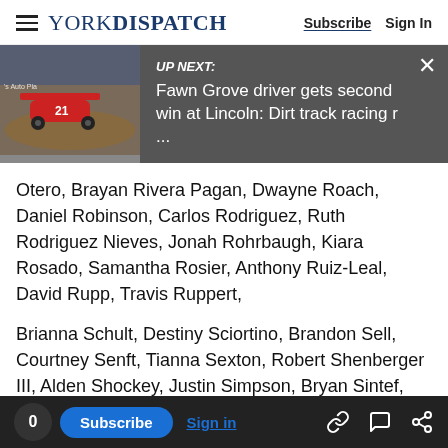YORK DISPATCH — Subscribe | Sign In
[Figure (screenshot): Up Next banner with racing car image. Text: UP NEXT: Fawn Grove driver gets second win at Lincoln: Dirt track racing r ...]
Otero, Brayan Rivera Pagan, Dwayne Roach, Daniel Robinson, Carlos Rodriguez, Ruth Rodriguez Nieves, Jonah Rohrbaugh, Kiara Rosado, Samantha Rosier, Anthony Ruiz-Leal, David Rupp, Travis Ruppert,
Brianna Schult, Destiny Sciortino, Brandon Sell, Courtney Senft, Tianna Sexton, Robert Shenberger III, Alden Shockey, Justin Simpson, Bryan Sintef, Thaddeus Sloshi, Dustyne Small, Ta'Leah Smith Jr., Nylaya Smith, Kyle Snyder, Natalie Solá
0  Subscribe  Sign in  [link icon]  [comment icon]  [share icon]